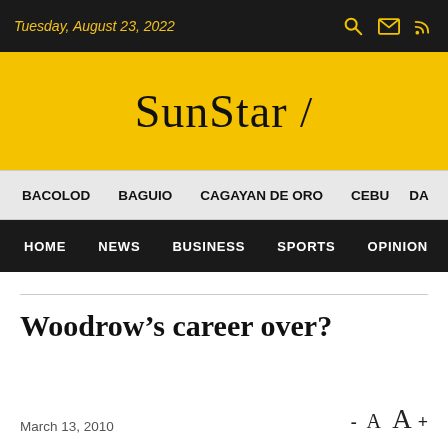Tuesday, August 23, 2022
[Figure (logo): SunStar logo on yellow background]
BACOLOD   BAGUIO   CAGAYAN DE ORO   CEBU   DA...
HOME   NEWS   BUSINESS   SPORTS   OPINION   F...
Woodrow’s career over?
March 13, 2010